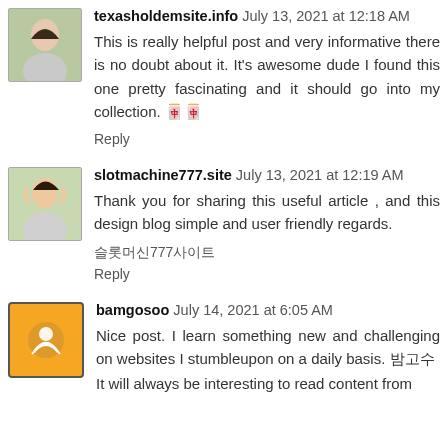texasholdemsite.info  July 13, 2021 at 12:18 AM
This is really helpful post and very informative there is no doubt about it. It's awesome dude I found this one pretty fascinating and it should go into my collection. 🀄🀄
Reply
slotmachine777.site  July 13, 2021 at 12:19 AM
Thank you for sharing this useful article , and this design blog simple and user friendly regards.
슬롯머신777사이트
Reply
bamgosoo  July 14, 2021 at 6:05 AM
Nice post. I learn something new and challenging on websites I stumbleupon on a daily basis. 밤고수
It will always be interesting to read content from